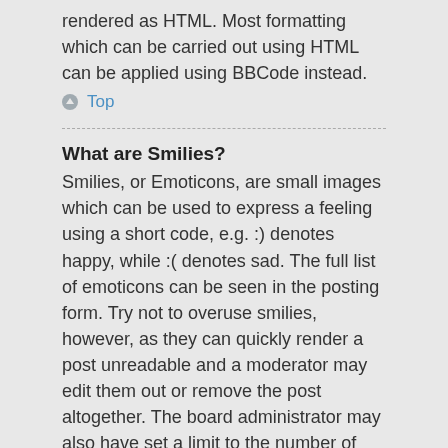rendered as HTML. Most formatting which can be carried out using HTML can be applied using BBCode instead.
Top
What are Smilies?
Smilies, or Emoticons, are small images which can be used to express a feeling using a short code, e.g. :) denotes happy, while :( denotes sad. The full list of emoticons can be seen in the posting form. Try not to overuse smilies, however, as they can quickly render a post unreadable and a moderator may edit them out or remove the post altogether. The board administrator may also have set a limit to the number of smilies you may use within a post.
Top
Can I post images?
Yes, images can be shown in your posts. If the administrator has allowed attachments, you may be able to upload the image to the board. Otherwise, you must link to an image stored on a publicly accessible web server, e.g. http://www.example.com/my-picture.gif. You cannot link to pictures stored on your own PC (unless it is a publicly